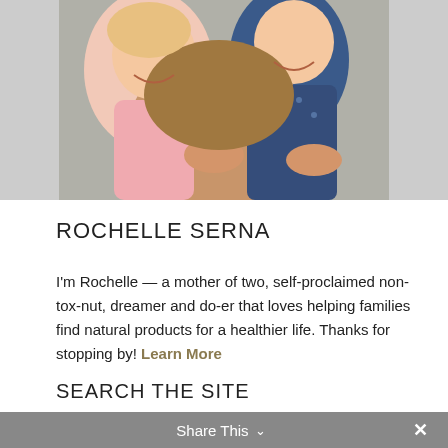[Figure (photo): A woman holding two young children, smiling. The children are wearing colorful outfits — one in pink and one in a navy patterned shirt.]
ROCHELLE SERNA
I'm Rochelle — a mother of two, self-proclaimed non-tox-nut, dreamer and do-er that loves helping families find natural products for a healthier life. Thanks for stopping by! Learn More
SEARCH THE SITE
Share This ×